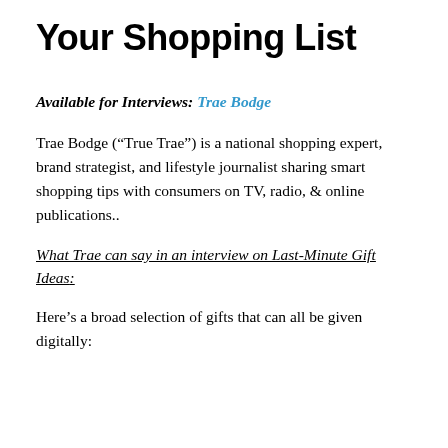Your Shopping List
Available for Interviews: Trae Bodge
Trae Bodge (“True Trae”) is a national shopping expert, brand strategist, and lifestyle journalist sharing smart shopping tips with consumers on TV, radio, & online publications..
What Trae can say in an interview on Last-Minute Gift Ideas:
Here’s a broad selection of gifts that can all be given digitally: